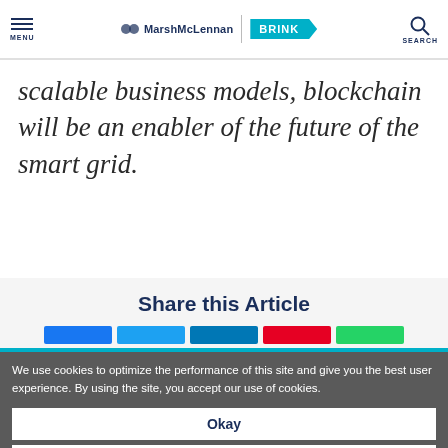MarshMcLennan BRINK
scalable business models, blockchain will be an enabler of the future of the smart grid.
Share this Article
We use cookies to optimize the performance of this site and give you the best user experience. By using the site, you accept our use of cookies.
Okay
Manage Cookies